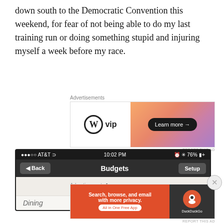down south to the Democratic Convention this weekend, for fear of not being able to do my last training run or doing something stupid and injuring myself a week before my race.
Advertisements
[Figure (screenshot): WordPress VIP advertisement banner with 'Learn more →' button on orange-pink gradient background]
[Figure (screenshot): iPhone screenshot showing AT&T carrier, 10:02 PM, 76% battery, Budgets app navigation bar with Back and Setup buttons, February month view with Dining category showing $40.00]
Advertisements
[Figure (screenshot): DuckDuckGo advertisement: 'Search, browse, and email with more privacy. All in One Free App' on orange background with DuckDuckGo logo on dark background]